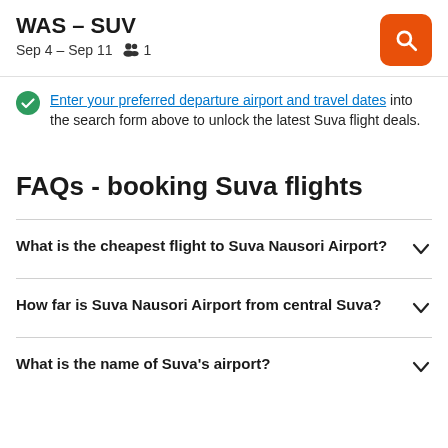WAS – SUV
Sep 4 – Sep 11   1
Enter your preferred departure airport and travel dates into the search form above to unlock the latest Suva flight deals.
FAQs - booking Suva flights
What is the cheapest flight to Suva Nausori Airport?
How far is Suva Nausori Airport from central Suva?
What is the name of Suva's airport?